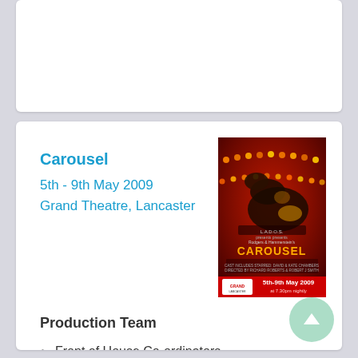Carousel
5th - 9th May 2009
Grand Theatre, Lancaster
[Figure (photo): Carousel musical poster with dark red background showing a carousel horse, LADROS presents Rodgers & Hammerstein's Carousel, 5th-9th May 2009 at 7.30pm nightly, Grand Theatre]
Production Team
Front of House Co-ordinators